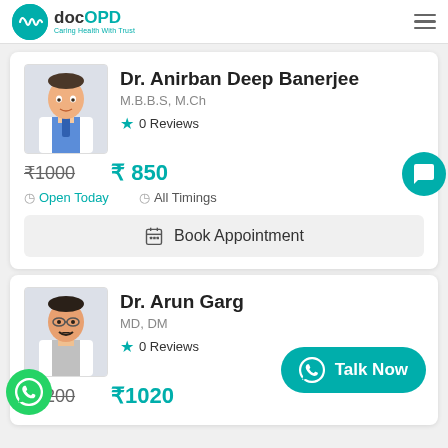docOPD - Caring Health With Trust
Dr. Anirban Deep Banerjee
M.B.B.S, M.Ch
0 Reviews
₹1000  ₹ 850
Open Today   All Timings
Book Appointment
Dr. Arun Garg
MD, DM
0 Reviews
₹1200  ₹1020
Talk Now